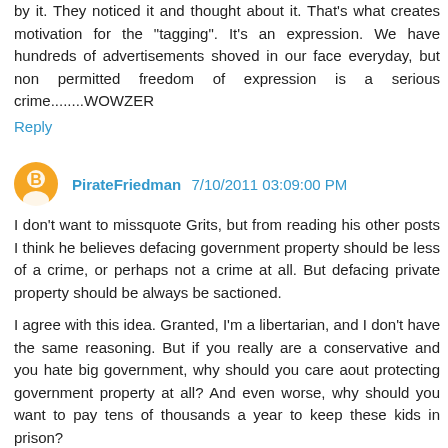by it. They noticed it and thought about it. That's what creates motivation for the "tagging". It's an expression. We have hundreds of advertisements shoved in our face everyday, but non permitted freedom of expression is a serious crime........WOWZER
Reply
PirateFriedman 7/10/2011 03:09:00 PM
I don't want to missquote Grits, but from reading his other posts I think he believes defacing government property should be less of a crime, or perhaps not a crime at all. But defacing private property should be always be sactioned.
I agree with this idea. Granted, I'm a libertarian, and I don't have the same reasoning. But if you really are a conservative and you hate big government, why should you care aout protecting government property at all? And even worse, why should you want to pay tens of thousands a year to keep these kids in prison?
Reply